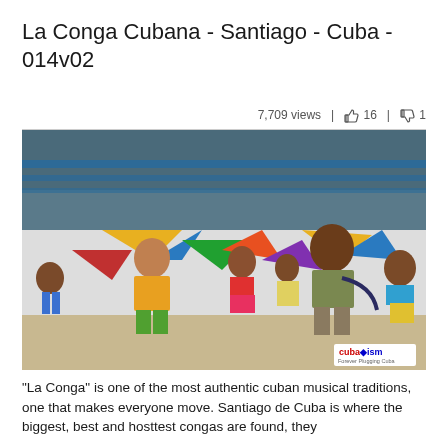La Conga Cubana - Santiago - Cuba - 014v02
7,709 views | 👍 16 | 👎 1
[Figure (photo): Children dancing La Conga in Santiago de Cuba, colorful mural in background. A boy in yellow jersey, children in festive clothes, urban street scene. Cubtourism watermark in bottom right.]
"La Conga" is one of the most authentic cuban musical traditions, one that makes everyone move. Santiago de Cuba is where the biggest, best and hosttest congas are found, they